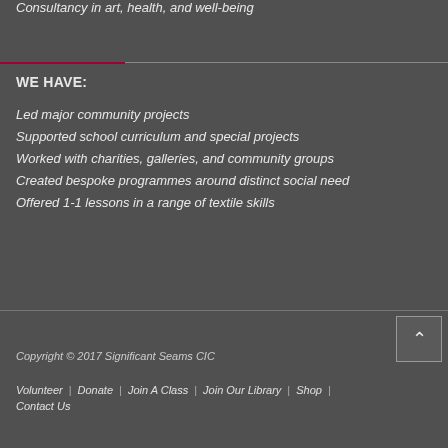Consultancy in art, health, and well-being
WE HAVE:
Led major community projects
Supported school curriculum and special projects
Worked with charities, galleries, and community groups
Created bespoke programmes around distinct social need
Offered 1-1 lessons in a range of textile skills
Copyright © 2017 Significant Seams CIC
Volunteer | Donate | Join A Class | Join Our Library | Shop | Contact Us